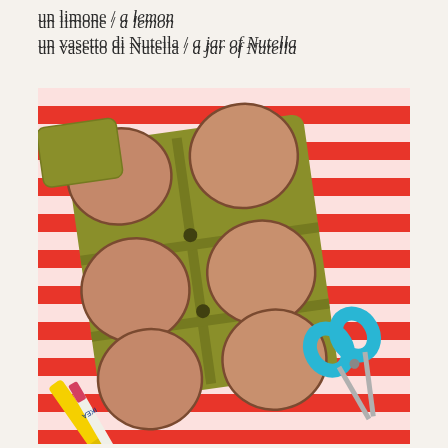un limone / a lemon
un vasetto di Nutella / a jar of Nutella
[Figure (photo): Overhead view of a green cardboard egg carton containing 6 brown eggs, placed on a red and white striped tablecloth. In the lower right corner are blue scissors, and in the lower left corner are a yellow marker and a pencil with an IKEA label.]